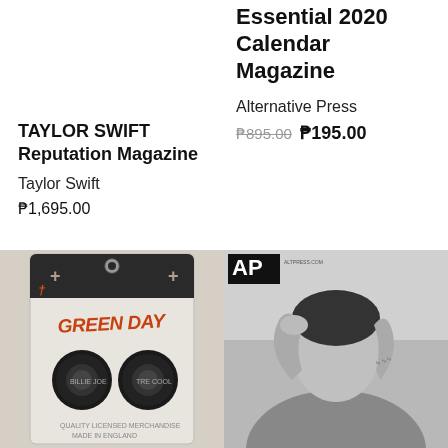Essential 2020 Calendar Magazine
Alternative Press
₱895.00 ₱195.00
TAYLOR SWIFT Reputation Magazine
Taylor Swift
₱1,695.00
[Figure (photo): Green Day guitar picks set in retail blister packaging with Green Day branding]
[Figure (photo): Black and white photo of a tattooed young man posing for a magazine cover (Alternative Press style)]